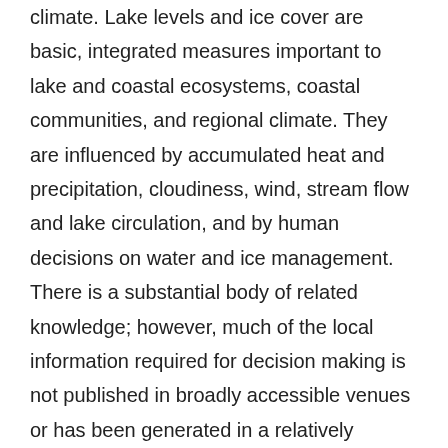climate. Lake levels and ice cover are basic, integrated measures important to lake and coastal ecosystems, coastal communities, and regional climate. They are influenced by accumulated heat and precipitation, cloudiness, wind, stream flow and lake circulation, and by human decisions on water and ice management. There is a substantial body of related knowledge; however, much of the local information required for decision making is not published in broadly accessible venues or has been generated in a relatively uncoordinated way.  This effort is meant to create the capability to more easily extract information for specific applications and support continuous